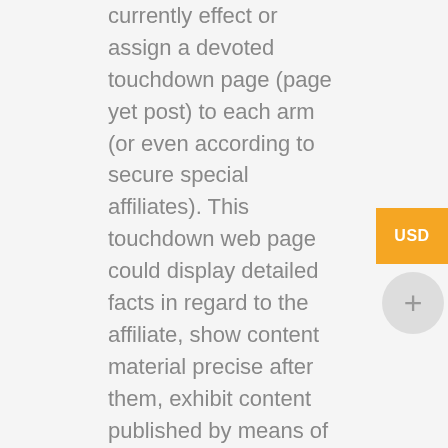currently effect or assign a devoted touchdown page (page yet post) to each arm (or even according to secure special affiliates). This touchdown web page could display detailed facts in regard to the affiliate, show content material precise after them, exhibit content published by means of them, or without a doubt some thing thou want! Potentially the near beautiful thing of Affiliate Landing Pages is its utterly seamless integration including WordPress and the non-existence WordPress editor. Simply construct a landing page and assign that in conformity with an affiliate. Easy!
No section hyperlink required!
Some humans are extremely good at spotting an affiliate link. They delay on the hyperlink or...